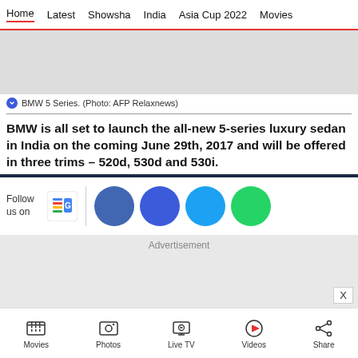Home  Latest  Showsha  India  Asia Cup 2022  Movies
[Figure (photo): Gray placeholder image for BMW 5 Series photo]
BMW 5 Series. (Photo: AFP Relaxnews)
BMW is all set to launch the all-new 5-series luxury sedan in India on the coming June 29th, 2017 and will be offered in three trims – 520d, 530d and 530i.
[Figure (infographic): Follow us on social media bar with Google News icon, Facebook, Twitter, and WhatsApp circles]
Advertisement
Movies  Photos  Live TV  Videos  Share